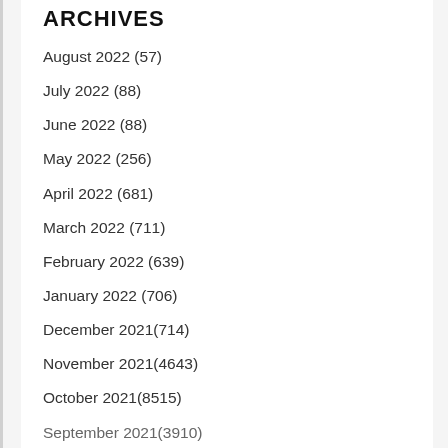ARCHIVES
August 2022 (57)
July 2022 (88)
June 2022 (88)
May 2022 (256)
April 2022 (681)
March 2022 (711)
February 2022 (639)
January 2022 (706)
December 2021(714)
November 2021(4643)
October 2021(8515)
September 2021(3910)